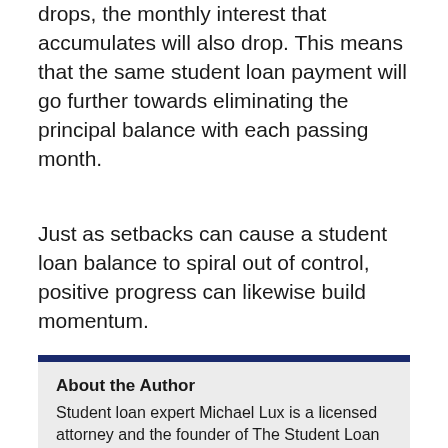drops, the monthly interest that accumulates will also drop. This means that the same student loan payment will go further towards eliminating the principal balance with each passing month.
Just as setbacks can cause a student loan balance to spiral out of control, positive progress can likewise build momentum.
About the Author
Student loan expert Michael Lux is a licensed attorney and the founder of The Student Loan Sherpa. He has helped borrowers navigate life with student debt since 2013.
Insight from Michael has been featured in US